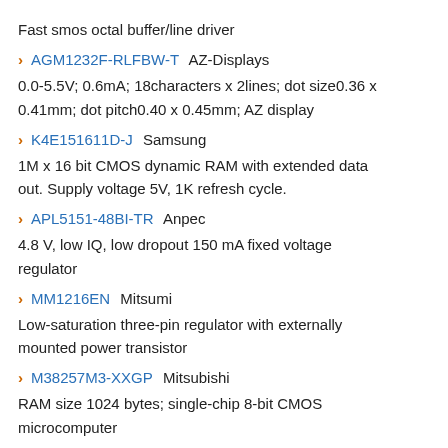Fast smos octal buffer/line driver
AGM1232F-RLFBW-T AZ-Displays
0.0-5.5V; 0.6mA; 18characters x 2lines; dot size0.36 x 0.41mm; dot pitch0.40 x 0.45mm; AZ display
K4E151611D-J Samsung
1M x 16 bit CMOS dynamic RAM with extended data out. Supply voltage 5V, 1K refresh cycle.
APL5151-48BI-TR Anpec
4.8 V, low IQ, low dropout 150 mA fixed voltage regulator
MM1216EN Mitsumi
Low-saturation three-pin regulator with externally mounted power transistor
M38257M3-XXGP Mitsubishi
RAM size 1024 bytes; single-chip 8-bit CMOS microcomputer
MSM5118165B-50JS OKI
1,048,576-word x 16-bit dynamic RAM